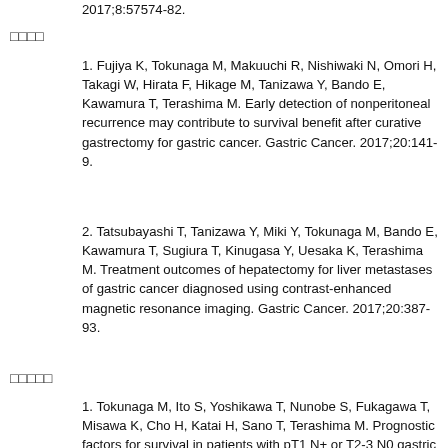2017;8:57574-82.
□□□□
1. Fujiya K, Tokunaga M, Makuuchi R, Nishiwaki N, Omori H, Takagi W, Hirata F, Hikage M, Tanizawa Y, Bando E, Kawamura T, Terashima M. Early detection of nonperitoneal recurrence may contribute to survival benefit after curative gastrectomy for gastric cancer. Gastric Cancer. 2017;20:141-9.
2. Tatsubayashi T, Tanizawa Y, Miki Y, Tokunaga M, Bando E, Kawamura T, Sugiura T, Kinugasa Y, Uesaka K, Terashima M. Treatment outcomes of hepatectomy for liver metastases of gastric cancer diagnosed using contrast-enhanced magnetic resonance imaging. Gastric Cancer. 2017;20:387-93.
□□□□□
1. Tokunaga M, Ito S, Yoshikawa T, Nunobe S, Fukagawa T, Misawa K, Cho H, Katai H, Sano T, Terashima M. Prognostic factors for survival in patients with pT1 N+ or T2-3 N0 gastric cancer in Japan. Br J